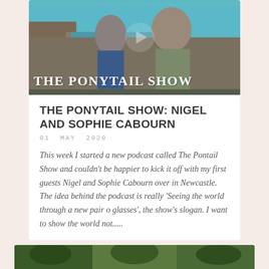[Figure (photo): The Ponytail Show header image with two people outdoors near a coastal cliff, with 'THE PONYTAIL SHOW' text overlaid in white decorative lettering]
THE PONYTAIL SHOW: NIGEL AND SOPHIE CABOURN
01 MAY 2020
This week I started a new podcast called The Pontail Show and couldn't be happier to kick it off with my first guests Nigel and Sophie Cabourn over in Newcastle. The idea behind the podcast is really 'Seeing the world through a new pair o glasses', the show's slogan. I want to show the world not...…
[Figure (photo): Bottom card showing a green outdoor/garden scene, partially visible]